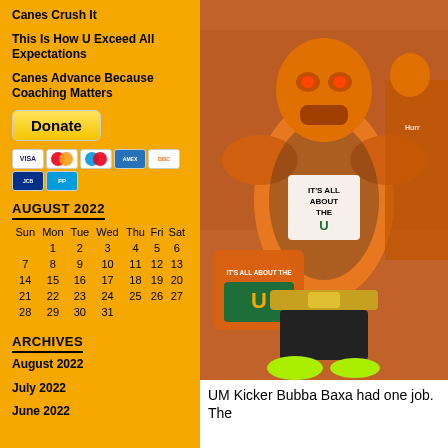Canes Crush It
This Is How U Exceed All Expectations
Canes Advance Because Coaching Matters
[Figure (other): Donate button with PayPal and payment card icons (VISA, Mastercard, Maestro, Amex, Discover, JCB, PayPal)]
AUGUST 2022
| Sun | Mon | Tue | Wed | Thu | Fri | Sat |
| --- | --- | --- | --- | --- | --- | --- |
|  | 1 | 2 | 3 | 4 | 5 | 6 |
| 7 | 8 | 9 | 10 | 11 | 12 | 13 |
| 14 | 15 | 16 | 17 | 18 | 19 | 20 |
| 21 | 22 | 23 | 24 | 25 | 26 | 27 |
| 28 | 29 | 30 | 31 |  |  |  |
ARCHIVES
August 2022
July 2022
June 2022
[Figure (photo): A person dressed in an elaborate orange and green Miami Hurricanes costume/armor, wearing an orange helmet-mask, holding an orange bag that reads IT'S ALL ABOUT THE U with the Miami U logo. The costume includes shoulder armor. Background shows other people in similar orange costumes.]
UM Kicker Bubba Baxa had one job. The